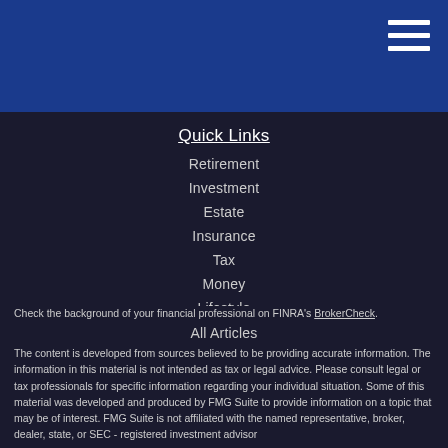Quick Links
Retirement
Investment
Estate
Insurance
Tax
Money
Lifestyle
All Articles
All Videos
All Calculators
All Presentations
Check the background of your financial professional on FINRA's BrokerCheck.
The content is developed from sources believed to be providing accurate information. The information in this material is not intended as tax or legal advice. Please consult legal or tax professionals for specific information regarding your individual situation. Some of this material was developed and produced by FMG Suite to provide information on a topic that may be of interest. FMG Suite is not affiliated with the named representative, broker, dealer, state, or SEC - registered investment advisor